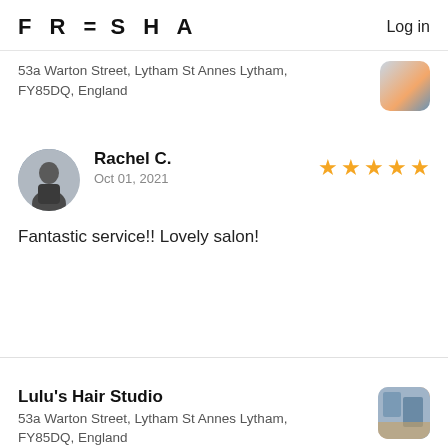FRESHA  Log in
53a Warton Street, Lytham St Annes Lytham, FY85DQ, England
Rachel C.
Oct 01, 2021
★★★★★
Fantastic service!! Lovely salon!
Lulu's Hair Studio
53a Warton Street, Lytham St Annes Lytham, FY85DQ, England